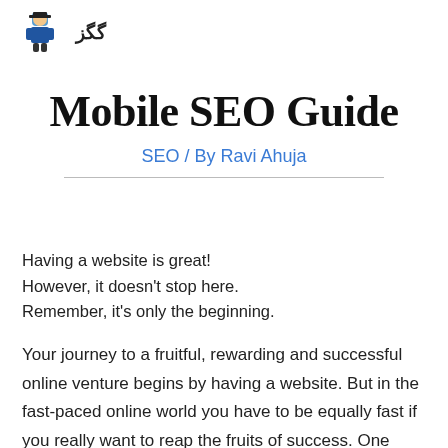گگز (logo with character illustration)
Mobile SEO Guide
SEO / By Ravi Ahuja
Having a website is great!
However, it doesn't stop here.
Remember, it's only the beginning.
Your journey to a fruitful, rewarding and successful online venture begins by having a website. But in the fast-paced online world you have to be equally fast if you really want to reap the fruits of success. One such